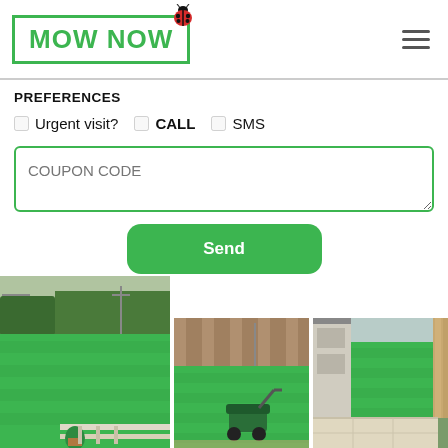[Figure (logo): MowNow logo in green border box with ladybug icon, and hamburger menu icon on the right]
PREFERENCES
Urgent visit? CALL SMS (checkboxes)
COUPON CODE (input field placeholder)
Send (button)
[Figure (photo): Three photos of mowed lawns: one large showing a neat green backyard with hedges, one medium showing a backyard with lawn mower, one showing a path beside a mowed lawn next to a house]
[Figure (photo): Medium photo of a backyard with green lawn and a lawn mower visible]
[Figure (photo): Photo of a mowed green lawn beside a house with a path]